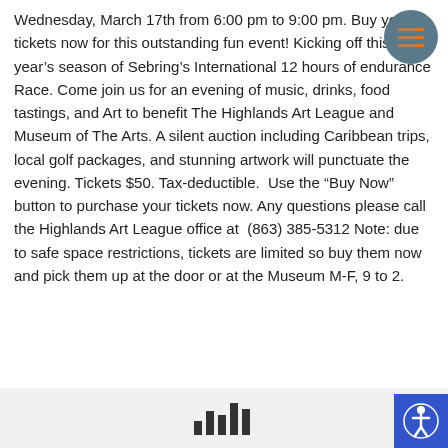Wednesday, March 17th from 6:00 pm to 9:00 pm. Buy your tickets now for this outstanding fun event! Kicking off this year's season of Sebring's International 12 hours of endurance Race. Come join us for an evening of music, drinks, food tastings, and Art to benefit The Highlands Art League and Museum of The Arts. A silent auction including Caribbean trips, local golf packages, and stunning artwork will punctuate the evening. Tickets $50. Tax-deductible. Use the “Buy Now” button to purchase your tickets now. Any questions please call the Highlands Art League office at (863) 385-5312 Note: due to safe space restrictions, tickets are limited so buy them now and pick them up at the door or at the Museum M-F, 9 to 2.
[Figure (logo): Speaker/audio logo mark at bottom center]